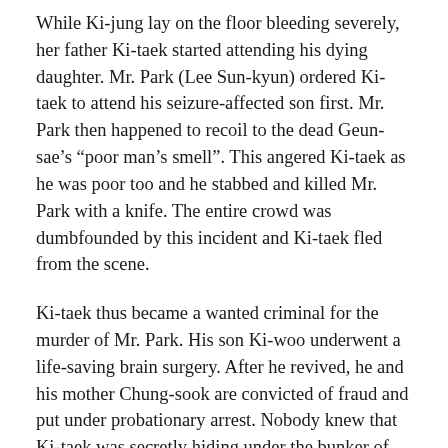While Ki-jung lay on the floor bleeding severely, her father Ki-taek started attending his dying daughter. Mr. Park (Lee Sun-kyun) ordered Ki-taek to attend his seizure-affected son first. Mr. Park then happened to recoil to the dead Geun-sae's “poor man’s smell”. This angered Ki-taek as he was poor too and he stabbed and killed Mr. Park with a knife. The entire crowd was dumbfounded by this incident and Ki-taek fled from the scene.
Ki-taek thus became a wanted criminal for the murder of Mr. Park. His son Ki-woo underwent a life-saving brain surgery. After he revived, he and his mother Chung-sook are convicted of fraud and put under probationary arrest. Nobody knew that Ki-taek was secretly hiding under the bunker of the Parks’ basement. Unknown to anyone, he had buried the dead body of Moon-gwang in the backyard of the house. The Park family had deserted their home after the murder incidents and the house got sold to a German family.